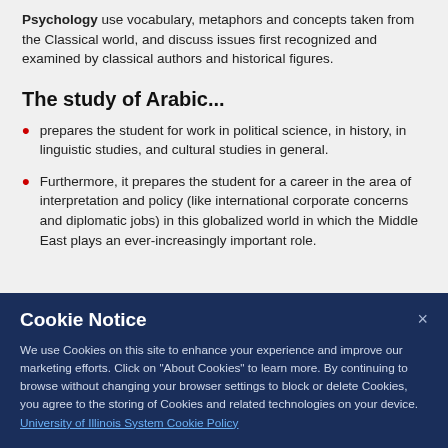Psychology use vocabulary, metaphors and concepts taken from the Classical world, and discuss issues first recognized and examined by classical authors and historical figures.
The study of Arabic...
prepares the student for work in political science, in history, in linguistic studies, and cultural studies in general.
Furthermore, it prepares the student for a career in the area of interpretation and policy (like international corporate concerns and diplomatic jobs) in this globalized world in which the Middle East plays an ever-increasingly important role.
Cookie Notice
We use Cookies on this site to enhance your experience and improve our marketing efforts. Click on “About Cookies” to learn more. By continuing to browse without changing your browser settings to block or delete Cookies, you agree to the storing of Cookies and related technologies on your device. University of Illinois System Cookie Policy